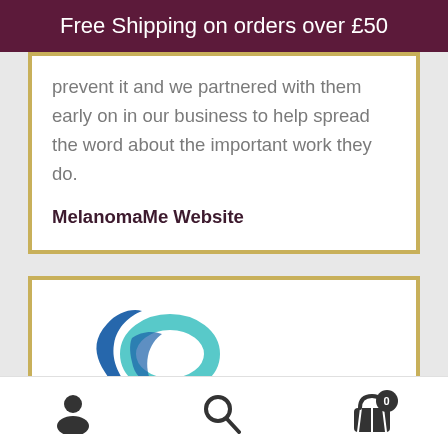Free Shipping on orders over £50
prevent it and we partnered with them early on in our business to help spread the word about the important work they do.
MelanomaMe Website
[Figure (logo): MelanomaMe logo — blue and teal ribbon/swirl design]
User account icon | Search icon | Shopping basket icon with badge showing 0